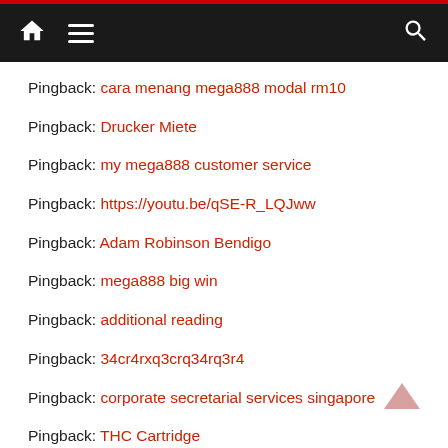Navigation bar with home, menu, and search icons
Pingback: cara menang mega888 modal rm10
Pingback: Drucker Miete
Pingback: my mega888 customer service
Pingback: https://youtu.be/qSE-R_LQJww
Pingback: Adam Robinson Bendigo
Pingback: mega888 big win
Pingback: additional reading
Pingback: 34cr4rxq3crq34rq3r4
Pingback: corporate secretarial services singapore
Pingback: THC Cartridge